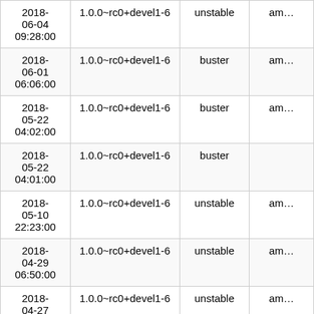| Date | Version | Distribution | Architecture |
| --- | --- | --- | --- |
| 2018-06-04 09:28:00 | 1.0.0~rc0+devel1-6 | unstable | am… |
| 2018-06-01 06:06:00 | 1.0.0~rc0+devel1-6 | buster | am… |
| 2018-05-22 04:02:00 | 1.0.0~rc0+devel1-6 | buster | am… |
| 2018-05-22 04:01:00 | 1.0.0~rc0+devel1-6 | buster |  |
| 2018-05-10 22:23:00 | 1.0.0~rc0+devel1-6 | unstable | am… |
| 2018-04-29 06:50:00 | 1.0.0~rc0+devel1-6 | unstable | am… |
| 2018-04-27 22:28:00 | 1.0.0~rc0+devel1-6 | unstable | am… |